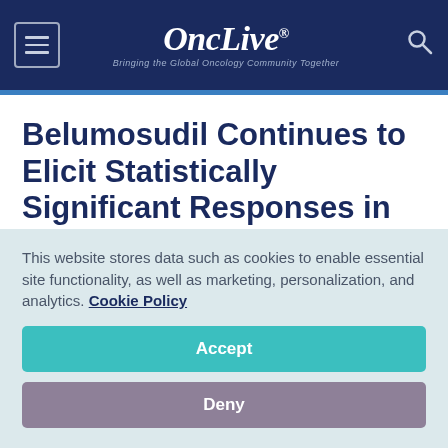OncLive - Bringing the Global Oncology Community Together
Belumosudil Continues to Elicit Statistically Significant Responses in cGVHD
September 2, 2020
Kristi Rosa
This website stores data such as cookies to enable essential site functionality, as well as marketing, personalization, and analytics. Cookie Policy
Accept
Deny